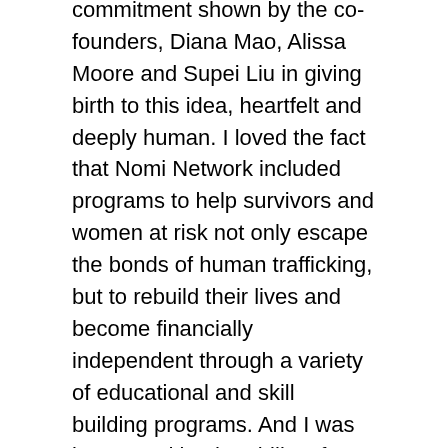commitment shown by the co-founders, Diana Mao, Alissa Moore and Supei Liu in giving birth to this idea, heartfelt and deeply human. I loved the fact that Nomi Network included programs to help survivors and women at risk not only escape the bonds of human trafficking, but to rebuild their lives and become financially independent through a variety of educational and skill building programs. And I was impressed by the ability of Nomi to attract a large network of volunteers and partner organizations willing to give of themselves in the interest of helping transform the lives of others. I wanted to join their forces.
I contacted Nomi Network to inquire about a home show and eventually decided to expand the idea to include a more public fundraiser. With the guidance and help from Lisa Kim, Legal Counsel and VP of Sales and Operations, I was able to bring this idea to life, bring